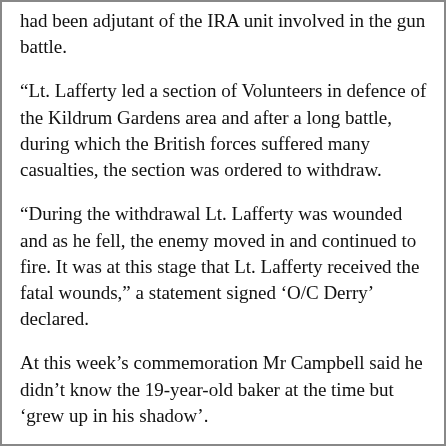had been adjutant of the IRA unit involved in the gun battle.
“Lt. Lafferty led a section of Volunteers in defence of the Kildrum Gardens area and after a long battle, during which the British forces suffered many casualties, the section was ordered to withdraw.
“During the withdrawal Lt. Lafferty was wounded and as he fell, the enemy moved in and continued to fire. It was at this stage that Lt. Lafferty received the fatal wounds,” a statement signed ‘O/C Derry’ declared.
At this week’s commemoration Mr Campbell said he didn’t know the 19-year-old baker at the time but ‘grew up in his shadow’.